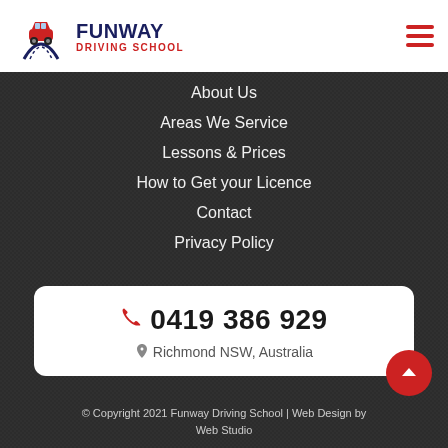[Figure (logo): Funway Driving School logo with red car and road graphic, dark blue text FUNWAY DRIVING SCHOOL]
About Us
Areas We Service
Lessons & Prices
How to Get your Licence
Contact
Privacy Policy
0419 386 929
Richmond NSW, Australia
© Copyright 2021 Funway Driving School | Web Design by Web Studio